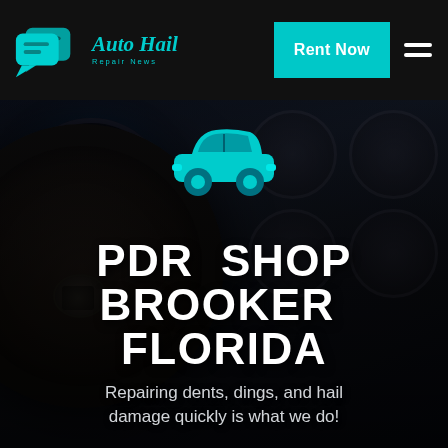[Figure (logo): Auto Hail Repair News logo with two overlapping chat bubble icons in teal/cyan color on left]
Rent Now
[Figure (other): Car interior hero image showing steering wheel, gauge cluster, and dashboard of a dark luxury car (Mercedes). Darkened photo overlay.]
[Figure (illustration): Teal/cyan car icon silhouette centered above the main title]
PDR SHOP BROOKER FLORIDA
Repairing dents, dings, and hail damage quickly is what we do!